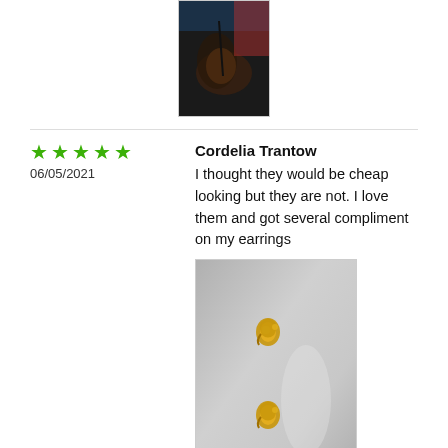[Figure (photo): A hand holding a small dark item, partial view, dark background with colorful elements]
★★★★★
06/05/2021
Cordelia Trantow
I thought they would be cheap looking but they are not. I love them and got several compliment on my earrings
[Figure (photo): Two small gold elephant earrings resting on a gray surface]
★★★★★
06/01/2021
Elwyn Champlin
Beautiful earrings really! Well made! I loved it !!!!!!! look awesome🌟 on my ears 🎧 they look like in the photo I love them...